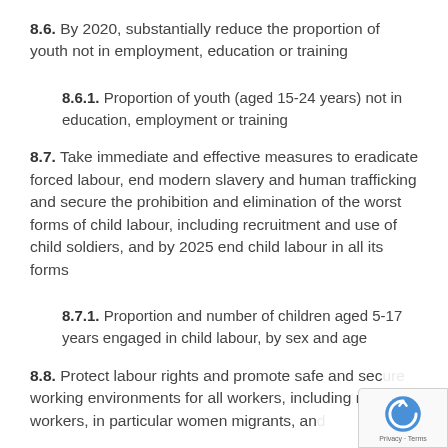8.6. By 2020, substantially reduce the proportion of youth not in employment, education or training
8.6.1. Proportion of youth (aged 15-24 years) not in education, employment or training
8.7. Take immediate and effective measures to eradicate forced labour, end modern slavery and human trafficking and secure the prohibition and elimination of the worst forms of child labour, including recruitment and use of child soldiers, and by 2025 end child labour in all its forms
8.7.1. Proportion and number of children aged 5-17 years engaged in child labour, by sex and age
8.8. Protect labour rights and promote safe and secure working environments for all workers, including migrant workers, in particular women migrants, and